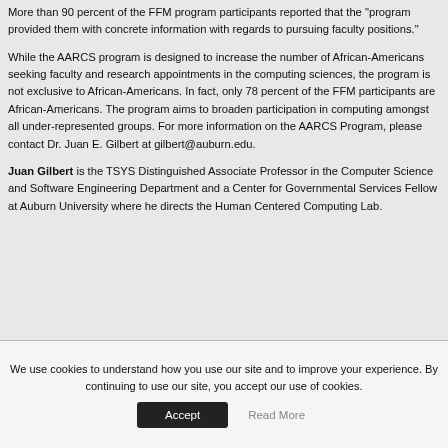More than 90 percent of the FFM program participants reported that the "program provided them with concrete information with regards to pursuing faculty positions."
While the AARCS program is designed to increase the number of African-Americans seeking faculty and research appointments in the computing sciences, the program is not exclusive to African-Americans. In fact, only 78 percent of the FFM participants are African-Americans. The program aims to broaden participation in computing amongst all under-represented groups. For more information on the AARCS Program, please contact Dr. Juan E. Gilbert at gilbert@auburn.edu.
Juan Gilbert is the TSYS Distinguished Associate Professor in the Computer Science and Software Engineering Department and a Center for Governmental Services Fellow at Auburn University where he directs the Human Centered Computing Lab.
We use cookies to understand how you use our site and to improve your experience. By continuing to use our site, you accept our use of cookies.